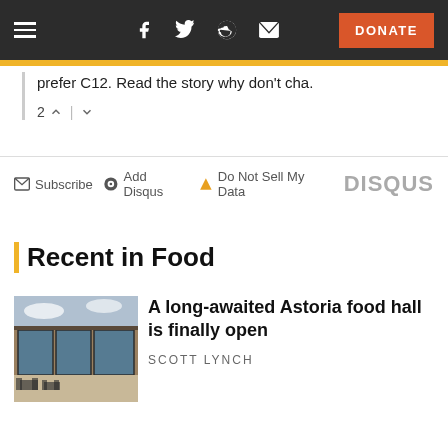Navigation bar with hamburger menu, social icons (Facebook, Twitter, Reddit, Email), and DONATE button
prefer C12. Read the story why don't cha.
2 ↑ | ↓
✉ Subscribe  ● Add Disqus  ▲ Do Not Sell My Data  DISQUS
Recent in Food
[Figure (photo): Photo of a restaurant or food hall exterior with large glass windows, outdoor seating with dark chairs and tables, brick building facade]
A long-awaited Astoria food hall is finally open
SCOTT LYNCH